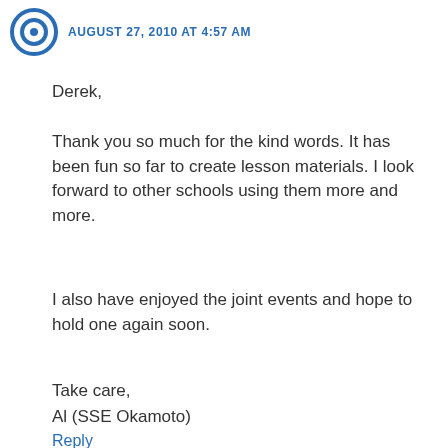AUGUST 27, 2010 AT 4:57 AM
Derek,
Thank you so much for the kind words. It has been fun so far to create lesson materials. I look forward to other schools using them more and more.
I also have enjoyed the joint events and hope to hold one again soon.
Take care,
Al (SSE Okamoto)
Reply